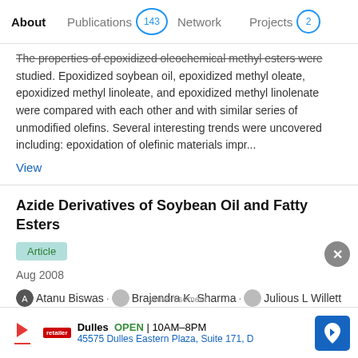About  |  Publications 143  |  Network  |  Projects 2
The properties of epoxidized oleochemical methyl esters were studied. Epoxidized soybean oil, epoxidized methyl oleate, epoxidized methyl linoleate, and epoxidized methyl linolenate were compared with each other and with similar series of unmodified olefins. Several interesting trends were uncovered including: epoxidation of olefinic materials impr...
View
Azide Derivatives of Soybean Oil and Fatty Esters
Article
Aug 2008
Atanu Biswas · Brajendra K. Sharma · Julious L Willett · [...] · Huai N. Cheng
An environmentally friendly water-based pathway to form the azide derivatives of soybean oil and fatty esters is reported. This entails first the formation of epoxides and then the
Advertisement
Dulles  OPEN  10AM–8PM  45575 Dulles Eastern Plaza, Suite 171, D